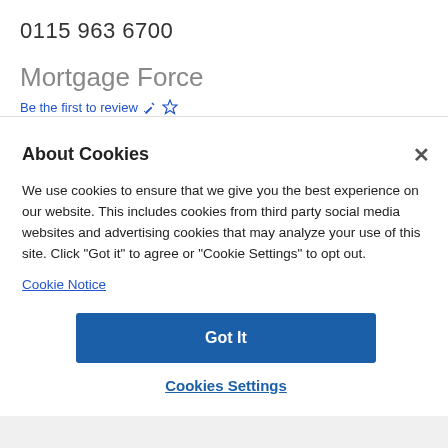0115 963 6700
Mortgage Force
Be the first to review ✏☆
About Cookies
We use cookies to ensure that we give you the best experience on our website. This includes cookies from third party social media websites and advertising cookies that may analyze your use of this site. Click "Got it" to agree or "Cookie Settings" to opt out.
Cookie Notice
Got It
Cookies Settings